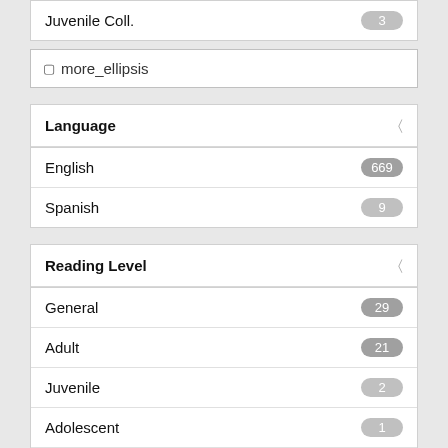Juvenile Coll.  3
more_ellipsis
Language
English  669
Spanish  9
Reading Level
General  29
Adult  21
Juvenile  2
Adolescent  1
Preschool  1